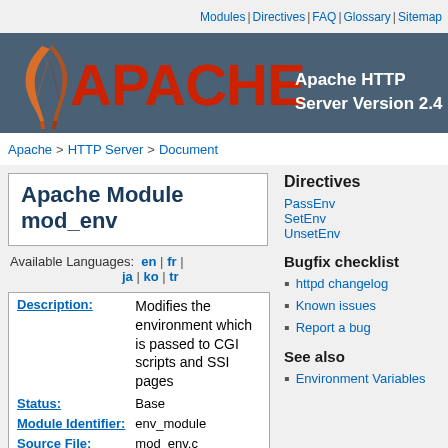Modules | Directives | FAQ | Glossary | Sitemap
[Figure (logo): Apache HTTP Server Version 2.4 logo banner with feather and red APACHE text on dark blue-grey background]
Apache > HTTP Server > Document
Apache Module mod_env
Available Languages: en | fr | ja | ko | tr
| Field | Value |
| --- | --- |
| Description: | Modifies the environment which is passed to CGI scripts and SSI pages |
| Status: | Base |
| Module Identifier: | env_module |
| Source File: | mod_env.c |
Directives
PassEnv
SetEnv
UnsetEnv
Bugfix checklist
httpd changelog
Known issues
Report a bug
See also
Environment Variables